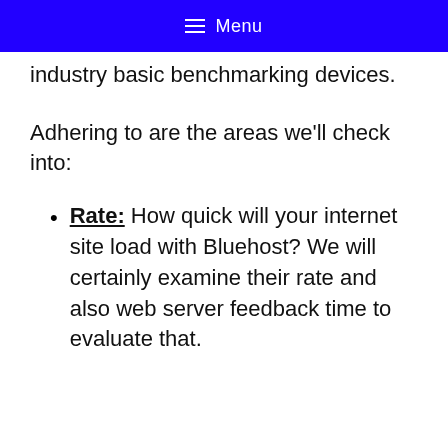☰ Menu
industry basic benchmarking devices.
Adhering to are the areas we'll check into:
Rate: How quick will your internet site load with Bluehost? We will certainly examine their rate and also web server feedback time to evaluate that.